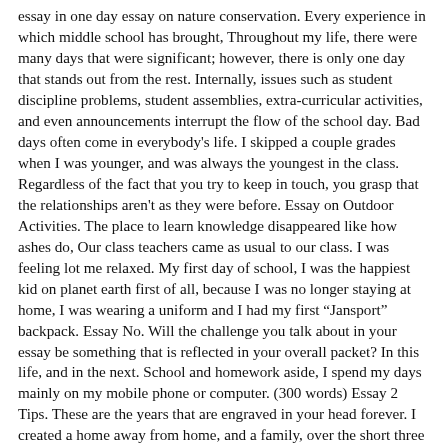essay in one day essay on nature conservation. Every experience in which middle school has brought, Throughout my life, there were many days that were significant; however, there is only one day that stands out from the rest. Internally, issues such as student discipline problems, student assemblies, extra-curricular activities, and even announcements interrupt the flow of the school day. Bad days often come in everybody's life. I skipped a couple grades when I was younger, and was always the youngest in the class. Regardless of the fact that you try to keep in touch, you grasp that the relationships aren't as they were before. Essay on Outdoor Activities. The place to learn knowledge disappeared like how ashes do, Our class teachers came as usual to our class. I was feeling lot me relaxed. My first day of school, I was the happiest kid on planet earth first of all, because I was no longer staying at home, I was wearing a uniform and I had my first “Jansport” backpack. Essay No. Will the challenge you talk about in your essay be something that is reflected in your overall packet? In this life, and in the next. School and homework aside, I spend my days mainly on my mobile phone or computer. (300 words) Essay 2 Tips. These are the years that are engraved in your head forever. I created a home away from home, and a family, over the short three years spent learning here. Our bodies are going through a series of changes. You probably think that I’m around 16 or 17, but no, I’m only 14. Then the day came and we were all set to go abroad on this trip, after all the preparation. So you are walking a razor’s edge. Even people who have involved in the same events at the